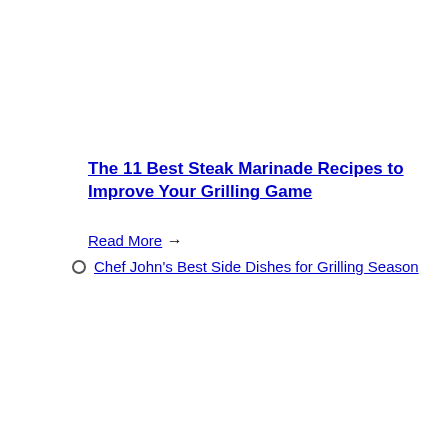The 11 Best Steak Marinade Recipes to Improve Your Grilling Game
Read More →
Chef John's Best Side Dishes for Grilling Season